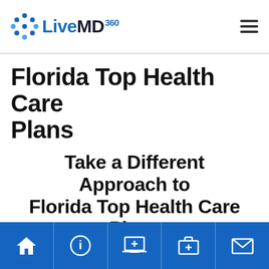LiveMD360
Florida Top Health Care Plans
Take a Different Approach to Florida Top Health Care Plans
Navigation bar with home, info, telehealth, medical kit, and mail icons